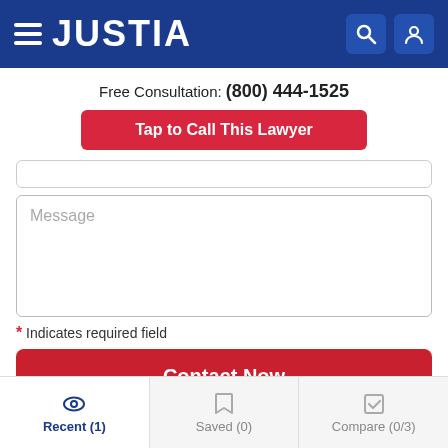JUSTIA
Free Consultation: (800) 444-1525
Tap to Call This Lawyer
[Figure (screenshot): Empty input field (text box stub)]
[Figure (screenshot): Message text area with placeholder text 'Message']
* Indicates required field
Contact Now
Recent (1)  Saved (0)  Compare (0/3)